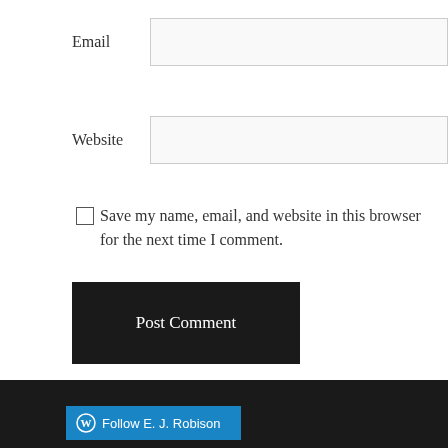Email
Website
Save my name, email, and website in this browser for the next time I comment.
Post Comment
Notify me of new comments via email.
Notify me of new posts via email.
Follow E.J. Robison